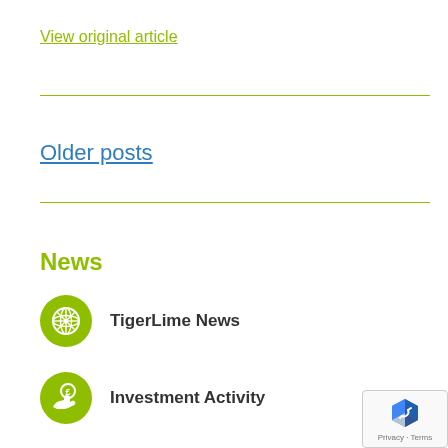View original article
Older posts
News
TigerLime News
Investment Activity
[Figure (logo): reCAPTCHA badge with Privacy and Terms links]